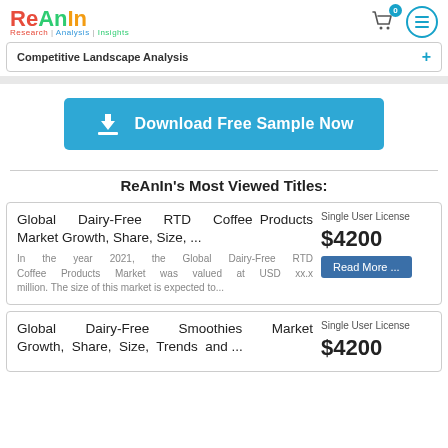ReAnIn Research | Analysis | Insights
Competitive Landscape Analysis
[Figure (screenshot): Download Free Sample Now button with download icon]
ReAnIn's Most Viewed Titles:
Global Dairy-Free RTD Coffee Products Market Growth, Share, Size, ... | Single User License $4200 | In the year 2021, the Global Dairy-Free RTD Coffee Products Market was valued at USD xx.x million. The size of this market is expected to...
Global Dairy-Free Smoothies Market Growth, Share, Size, Trends and ... | Single User License $4200